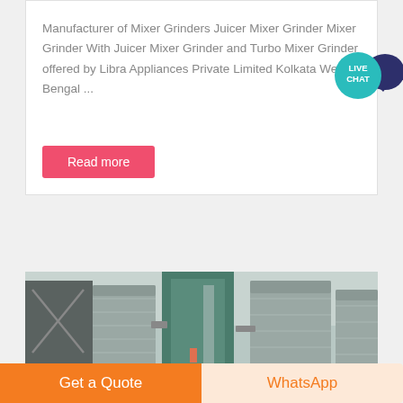Manufacturer of Mixer Grinders Juicer Mixer Grinder Mixer Grinder With Juicer Mixer Grinder and Turbo Mixer Grinder offered by Libra Appliances Private Limited Kolkata West Bengal ...
[Figure (other): Live chat bubble icon with teal circle labeled LIVE CHAT and dark navy speech bubble icon]
Read more
[Figure (photo): Industrial silos and storage tanks at a manufacturing facility, taken outdoors]
Get a Quote
WhatsApp